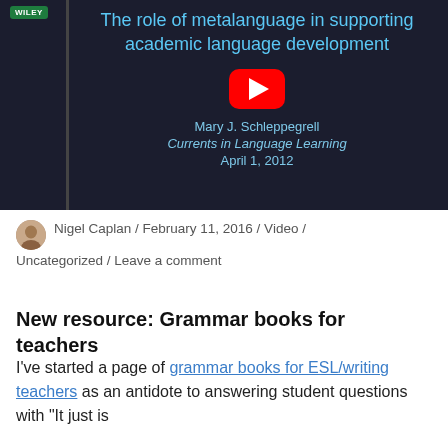[Figure (screenshot): YouTube video thumbnail with dark background showing title 'The role of metalanguage in supporting academic language development' by Mary J. Schleppegrell, Currents in Language Learning, April 1, 2012. Wiley badge top-left, red YouTube play button in center.]
Nigel Caplan / February 11, 2016 / Video / Uncategorized / Leave a comment
New resource: Grammar books for teachers
I've started a page of grammar books for ESL/writing teachers as an antidote to answering student questions with "It just is". Please feel free to suggest any books you've...